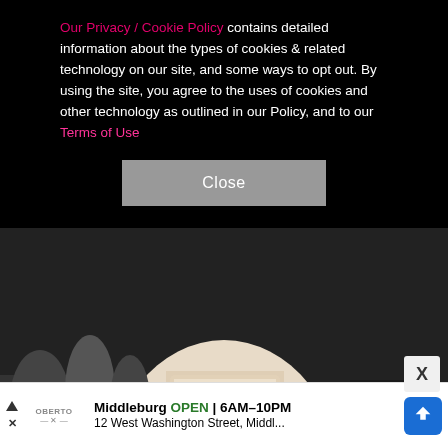Our Privacy / Cookie Policy contains detailed information about the types of cookies & related technology on our site, and some ways to opt out. By using the site, you agree to the uses of cookies and other technology as outlined in our Policy, and to our Terms of Use
[Figure (photo): A woman in a strapless cream/beige plaid puffball dress surrounded by fans holding signs and cameras, outside a venue.]
Middleburg OPEN | 6AM–10PM
12 West Washington Street, Middl...